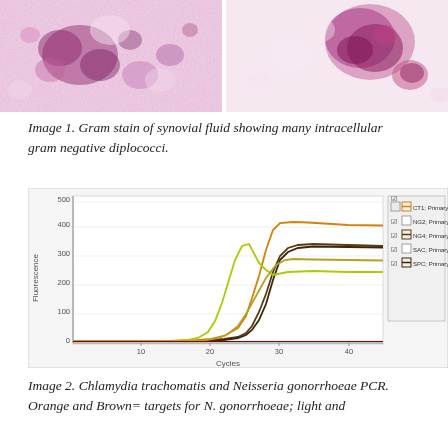[Figure (photo): Microscopy image of Gram stain of synovial fluid showing intracellular gram negative diplococci — two side-by-side micrograph panels with pink/purple staining.]
Image 1. Gram stain of synovial fluid showing many intracellular gram negative diplococci.
[Figure (continuous-plot): PCR amplification curve plot showing Fluorescence vs Cycles. Multiple S-shaped sigmoid curves representing CT1 Primary (orange-checked), NG2 Primary (unchecked), NG4 Primary (checked), SAC Primary (unchecked), SPC Primary (checked). Y-axis: Fluorescence 0-500, X-axis: Cycles 0-45. Orange curve peaks ~400, dark brown curves ~320, yellow-green curve ~270, olive curve ~245. A flat dark red baseline curve near 0.]
Image 2. Chlamydia trachomatis and Neisseria gonorrhoeae PCR. Orange and Brown= targets for N. gonorrhoeae; light and